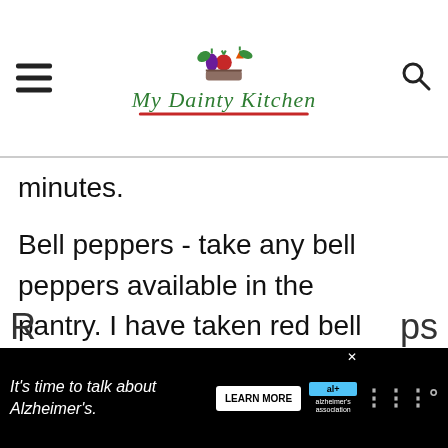My Dainty Kitchen
minutes.
Bell peppers - take any bell peppers available in the pantry. I have taken red bell peppers.
Tomatoes - Dice the tomatoes into small chunks.
[Figure (other): Advertisement banner: It's time to talk about Alzheimer's. with LEARN MORE button and Alzheimer's Association logo]